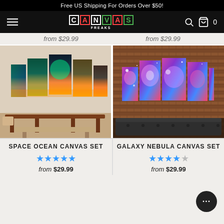Free US Shipping For Orders Over $50!
[Figure (logo): Canvas Freaks logo with colorful lettered boxes and navigation icons]
from $29.99  from $29.99
[Figure (photo): Space Ocean Canvas Set - 5-panel canvas art showing space nebula over ocean sunset, displayed in dining room setting]
[Figure (photo): Galaxy Nebula Canvas Set - 5-panel canvas art showing purple and blue galaxy nebula, displayed on brick wall above leather sofa]
SPACE OCEAN CANVAS SET
GALAXY NEBULA CANVAS SET
from $29.99
from $29.99